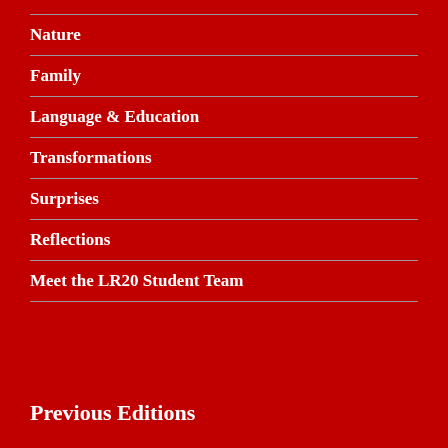Nature
Family
Language & Education
Transformations
Surprises
Reflections
Meet the LR20 Student Team
Previous Editions